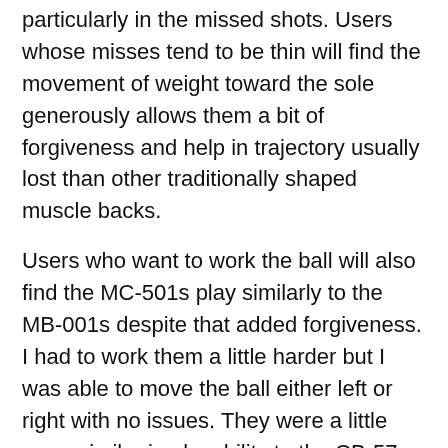particularly in the missed shots. Users whose misses tend to be thin will find the movement of weight toward the sole generously allows them a bit of forgiveness and help in trajectory usually lost than other traditionally shaped muscle backs.
Users who want to work the ball will also find the MC-501s play similarly to the MB-001s despite that added forgiveness. I had to work them a little harder but I was able to move the ball either left or right with no issues. They were a little more similar in playability to the CB-57 line than the MB-001.
The Yoshitaka Miura Y Grind sole allows the usual clean strike at impact and great interaction with the turf. There is no digging and it gives a very positive thump sound to your shots. This sole grind also helps to thin the look of the wider sole. Probably the widest sole offered on any Miura muscle back. Although wide, the MC-501 never